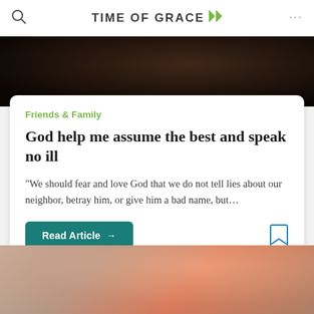TIME OF GRACE
[Figure (photo): Dark moody photo strip at top, partially visible — appears to be a person in shadow]
Friends & Family
God help me assume the best and speak no ill
“We should fear and love God that we do not tell lies about our neighbor, betray him, or give him a bad name, but…
Read Article →
[Figure (photo): Photo of a young woman with long hair wearing a red floral dress, seen from behind, outdoors with blurred background]